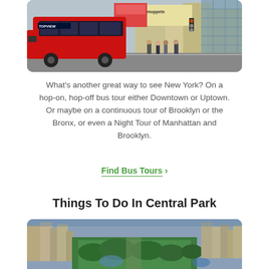[Figure (photo): A red double-decker TopView bus in Times Square, New York City, with colorful billboards and crowds in the background.]
What's another great way to see New York? On a hop-on, hop-off bus tour either Downtown or Uptown. Or maybe on a continuous tour of Brooklyn or the Bronx, or even a Night Tour of Manhattan and Brooklyn.
Find Bus Tours >
Things To Do In Central Park
[Figure (photo): Aerial view of Central Park in New York City, showing the park's green expanse surrounded by skyscrapers and city buildings.]